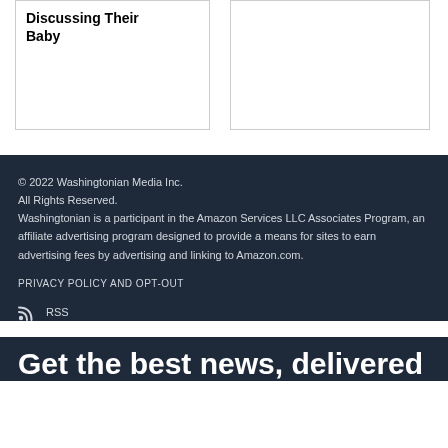Discussing Their Baby
© 2022 Washingtonian Media Inc. All Rights Reserved. Washingtonian is a participant in the Amazon Services LLC Associates Program, an affiliate advertising program designed to provide a means for sites to earn advertising fees by advertising and linking to Amazon.com.
PRIVACY POLICY AND OPT-OUT
RSS
Get the best news, delivered